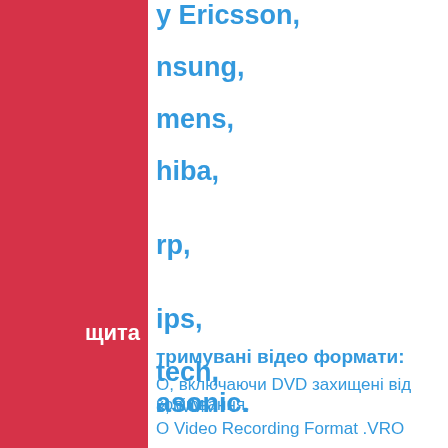y Ericsson,
nsung,
mens,
hiba,
rp,
ips,
tech,
asonic.
тримувані відео формати:
О, включаючи DVD захищені від копіювання,
в, WMV
О Video Recording Format .VRO
aming (real-time) recording of DVD discs